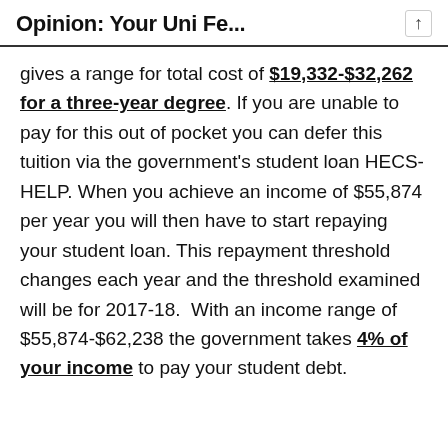Opinion: Your Uni Fe...
gives a range for total cost of $19,332-$32,262 for a three-year degree. If you are unable to pay for this out of pocket you can defer this tuition via the government's student loan HECS-HELP. When you achieve an income of $55,874 per year you will then have to start repaying your student loan. This repayment threshold changes each year and the threshold examined will be for 2017-18.  With an income range of $55,874-$62,238 the government takes 4% of your income to pay your student debt.